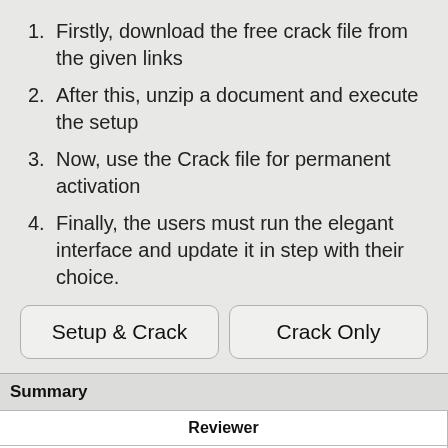1. Firstly, download the free crack file from the given links
2. After this, unzip a document and execute the setup
3. Now, use the Crack file for permanent activation
4. Finally, the users must run the elegant interface and update it in step with their choice.
Setup & Crack | Crack Only
| Summary |
| --- |
| Reviewer |
| Ava |